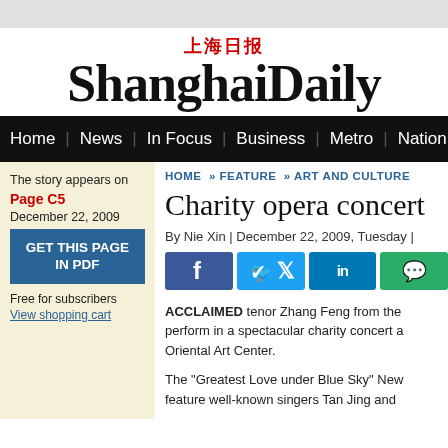上海日报 ShanghaiDaily
Home | News | In Focus | Business | Metro | Nation | Worl
The story appears on Page C5 December 22, 2009
GET THIS PAGE IN PDF
Free for subscribers View shopping cart
HOME » FEATURE » ART AND CULTURE
Charity opera concert
By Nie Xin | December 22, 2009, Tuesday |
ACCLAIMED tenor Zhang Feng from the perform in a spectacular charity concert Oriental Art Center.
The "Greatest Love under Blue Sky" New feature well-known singers Tan Jing and